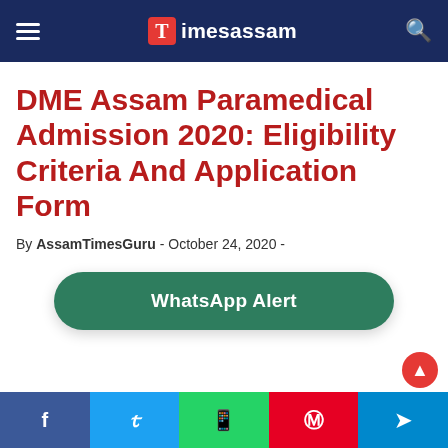Timesassam
DME Assam Paramedical Admission 2020: Eligibility Criteria And Application Form
By AssamTimesGuru - October 24, 2020 -
[Figure (other): WhatsApp Alert button — a rounded dark green button with white bold text reading 'WhatsApp Alert']
f  t  WhatsApp  Pinterest  Telegram social share bar